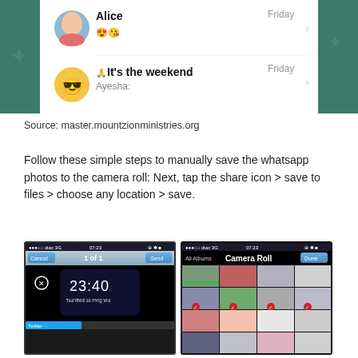[Figure (screenshot): WhatsApp chat list showing messages from Alice (Friday, emoji) and Ayesha (Friday, 'It's the weekend' with prayer hands emoji)]
Source: master.mountzionministries.org
Follow these simple steps to manually save the whatsapp photos to the camera roll: Next, tap the share icon > save to files > choose any location > save.
[Figure (screenshot): Two iOS screenshots side by side: left shows a media share screen with '1 of 1' and a phone lock screen overlay showing 23:40, right shows the Camera Roll album picker in Photos app with a grid of thumbnails]